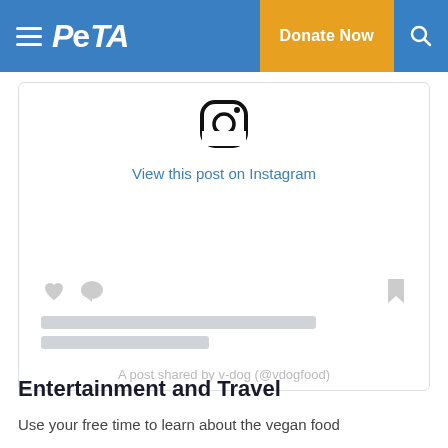PETA | Donate Now
[Figure (screenshot): Embedded Instagram post card showing Instagram logo icon, 'View this post on Instagram' link, action icons (heart, comment, bookmark), placeholder loading lines, and attribution text 'A post shared by v-dog (@vdogfood)']
Entertainment and Travel
Use your free time to learn about the vegan food